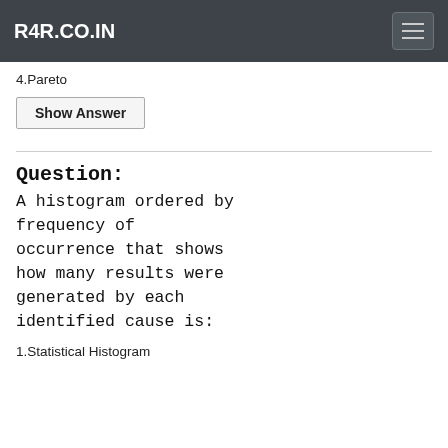R4R.CO.IN
4.Pareto
Show Answer
Question:
A histogram ordered by frequency of occurrence that shows how many results were generated by each identified cause is:
1.Statistical Histogram